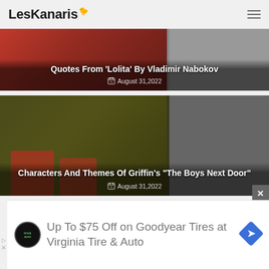LesKanaris
[Figure (photo): Article card with red roses on blue background. Title: Quotes From 'Lolita' By Vladimir Nabokov. Date: August 31, 2022]
[Figure (photo): Article card with theater/stage scene. Title: Characters And Themes Of Griffin's "The Boys Next Door". Date: August 31, 2022]
[Figure (infographic): Advertisement for Goodyear Tires: Up To $75 Off on Goodyear Tires at Virginia Tire & Auto]